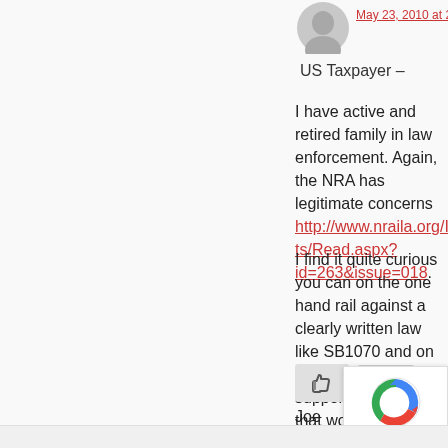May 23, 2010 at 2:39 pm
US Taxpayer –
I have active and retired family in law enforcement. Again, the NRA has legitimate concerns http://www.nraila.org/Issues/FactSheets/Read.aspx?id=263&issue=018.
I find it quite curious you can on the one hand rail against a clearly written law like SB1070 and on the other hand support gun laws that would violate people's Constitutional Rights.
Joe